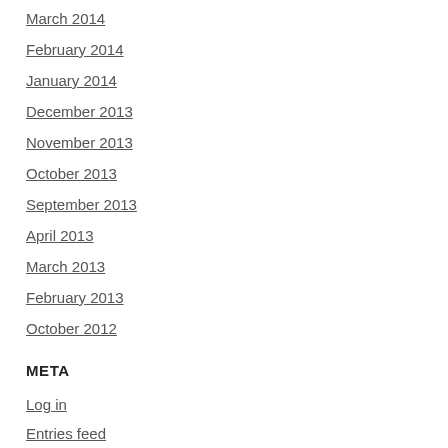March 2014
February 2014
January 2014
December 2013
November 2013
October 2013
September 2013
April 2013
March 2013
February 2013
October 2012
META
Log in
Entries feed
Comments feed
WordPress.org